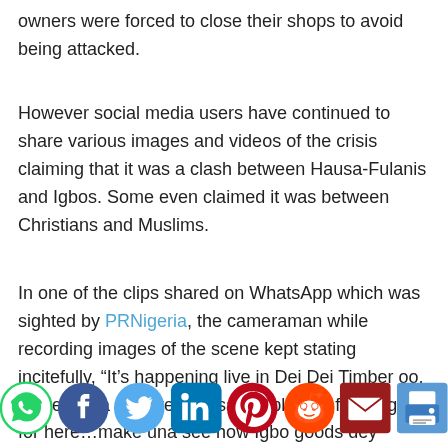owners were forced to close their shops to avoid being attacked.
However social media users have continued to share various images and videos of the crisis claiming that it was a clash between Hausa-Fulanis and Igbos. Some even claimed it was between Christians and Muslims.
In one of the clips shared on WhatsApp which was sighted by PRNigeria, the cameraman while recording images of the scene kept stating incitefully, “It’s happening live in Dei Dei Timber oo, make wuna see fire, Hausa people don finish Igbo for here…make una see how Igbo goods dey destroy, we need Biafra, we need Biafra.”
[Figure (infographic): Social media sharing icons row: WhatsApp (green), Facebook (blue), Twitter (light blue), LinkedIn (dark blue), Pinterest (red), Reddit (orange-red), Email (dark red), Print (blue-grey)]